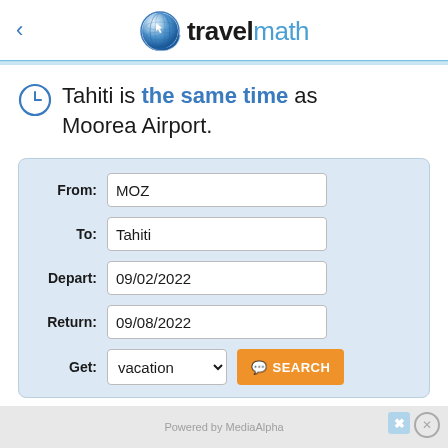travelmath
Tahiti is the same time as Moorea Airport.
| Field | Value |
| --- | --- |
| From: | MOZ |
| To: | Tahiti |
| Depart: | 09/02/2022 |
| Return: | 09/08/2022 |
| Get: | vacation |
Powered by MediaAlpha